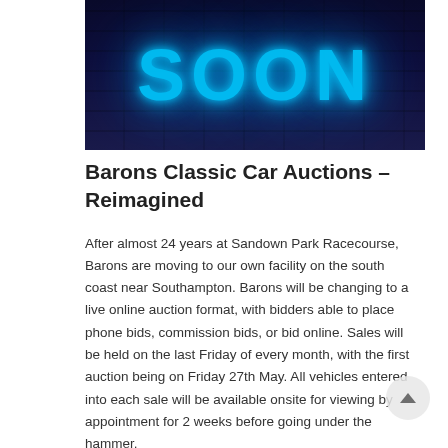[Figure (photo): Neon glowing text reading 'SOON' in blue neon lights against a dark brick wall background]
Barons Classic Car Auctions – Reimagined
After almost 24 years at Sandown Park Racecourse, Barons are moving to our own facility on the south coast near Southampton. Barons will be changing to a live online auction format, with bidders able to place phone bids, commission bids, or bid online. Sales will be held on the last Friday of every month, with the first auction being on Friday 27th May. All vehicles entered into each sale will be available onsite for viewing by appointment for 2 weeks before going under the hammer.
Barons Director Tony Cavell says "We're absolutely delighted to be moving to our own facility, it is